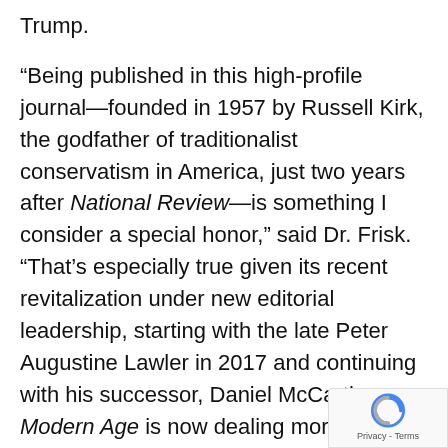Trump.

“Being published in this high-profile journal—founded in 1957 by Russell Kirk, the godfather of traditionalist conservatism in America, just two years after National Review—is something I consider a special honor,” said Dr. Frisk. “That’s especially true given its recent revitalization under new editorial leadership, starting with the late Peter Augustine Lawler in 2017 and continuing with his successor, Daniel McCarthy. Modern Age is now dealing more
[Figure (other): Google reCAPTCHA badge with circular arrow logo, Privacy and Terms text]